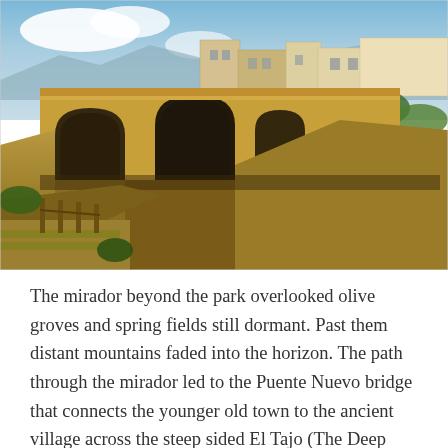[Figure (photo): Aerial/elevated view of the Puente Nuevo bridge in Ronda, Spain — a large stone arch bridge spanning a deep gorge with vertical cliff faces. Buildings of the old town visible on top of the cliffs in the background, under a partly cloudy sky.]
The mirador beyond the park overlooked olive groves and spring fields still dormant.  Past them distant mountains faded into the horizon.  The path through the mirador led to the Puente Nuevo bridge that connects the younger old town to the ancient village across the steep sided El Tajo (The Deep Cut) gorge, carved out eons ago by the